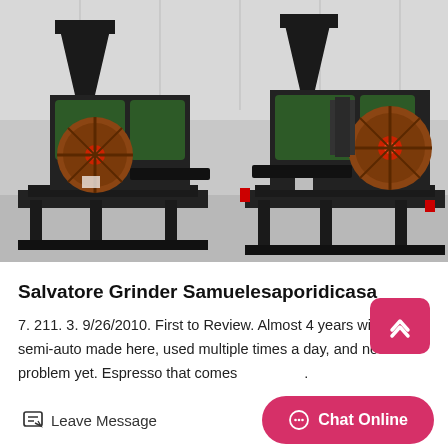[Figure (photo): Two large industrial roller/grinder machines in black and green with red and brown colored circular wheel components, sitting on black metal frames in a warehouse/factory setting with white corrugated metal walls in the background.]
Salvatore Grinder Samuelesaporidicasa
7. 211. 3. 9/26/2010. First to Review. Almost 4 years with semi-auto made here, used multiple times a day, and not a a problem yet. Espresso that comes out of this.
Leave Message
Chat Online